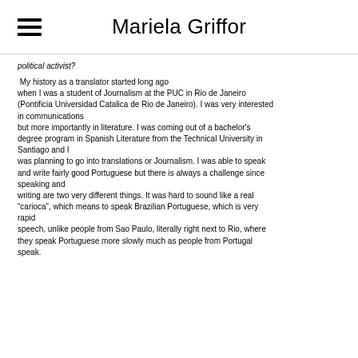Mariela Griffor
political activist?
My history as a translator started long ago when I was a student of Journalism at the PUC in Rio de Janeiro (Pontificia Universidad Catalica de Rio de Janeiro). I was very interested in communications but more importantly in literature. I was coming out of a bachelor's degree program in Spanish Literature from the Technical University in Santiago and I was planning to go into translations or Journalism. I was able to speak and write fairly good Portuguese but there is always a challenge since speaking and writing are two very different things. It was hard to sound like a real "carioca", which means to speak Brazilian Portuguese, which is very rapid speech, unlike people from Sao Paulo, literally right next to Rio, where they speak Portuguese more slowly much as people from Portugal speak.